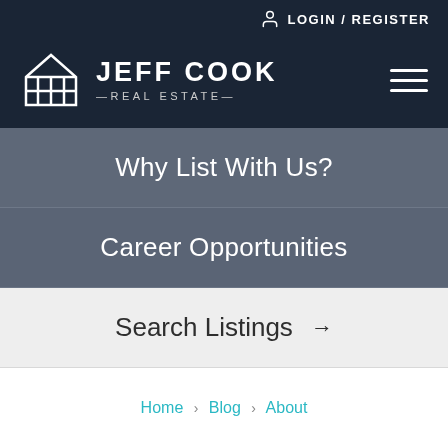LOGIN / REGISTER
[Figure (logo): Jeff Cook Real Estate logo with house icon and text]
Why List With Us?
Career Opportunities
Search Listings →
Home > Blog > About